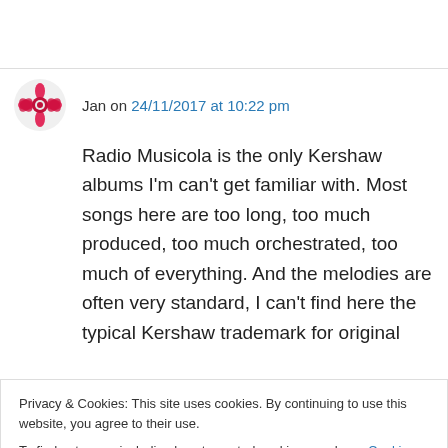Jan on 24/11/2017 at 10:22 pm
Radio Musicola is the only Kershaw albums I'm can't get familiar with. Most songs here are too long, too much produced, too much orchestrated, too much of everything. And the melodies are often very standard, I can't find here the typical Kershaw trademark for original
Privacy & Cookies: This site uses cookies. By continuing to use this website, you agree to their use.
To find out more, including how to control cookies, see here: Cookie Policy
Close and accept
↳ Reply